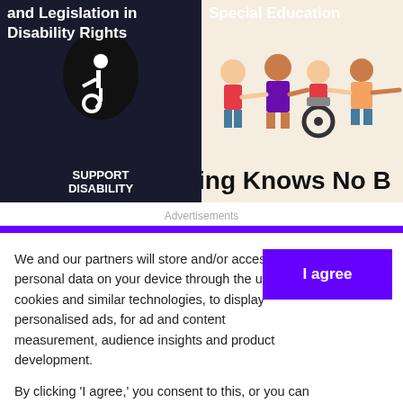[Figure (photo): Black background image with raised fist holding wheelchair symbol icon. Text reads 'SUPPORT DISABILITY'. Title overlay: 'and Legislation in Disability Rights']
[Figure (illustration): Cartoon children including one in a wheelchair holding hands. Title: 'Special Education'. Bottom text partially visible: 'ing Knows No B']
Advertisements
We and our partners will store and/or access personal data on your device through the use of cookies and similar technologies, to display personalised ads, for ad and content measurement, audience insights and product development.

By clicking 'I agree,' you consent to this, or you can manage your preferences.